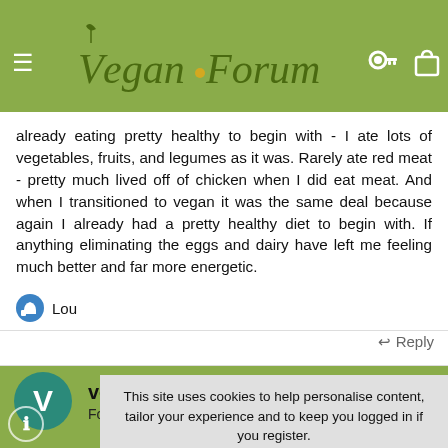Vegan Forum
already eating pretty healthy to begin with - I ate lots of vegetables, fruits, and legumes as it was. Rarely ate red meat - pretty much lived off of chicken when I did eat meat. And when I transitioned to vegan it was the same deal because again I already had a pretty healthy diet to begin with. If anything eliminating the eggs and dairy have left me feeling much better and far more energetic.
Lou
↩ Reply
veganDreama
Forum Legend
This site uses cookies to help personalise content, tailor your experience and to keep you logged in if you register.
By continuing to use this site, you are consenting to our use of cookies.
✓ ACCEPT
LEARN MORE...